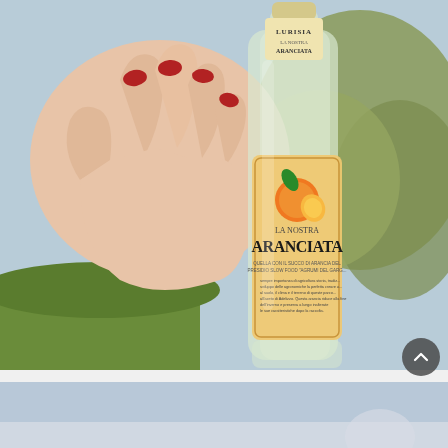[Figure (photo): A hand with red nail polish holding a glass bottle of Lurisia 'La Nostra Aranciata' (orange soda). The bottle label shows an orange illustration, Italian text about slow food and Gargano citrus. Background shows green olive trees and a blue sky.]
[Figure (photo): Partial view of a second photo — appears to show a pale blue/grey outdoor scene, partially visible at the bottom of the page.]